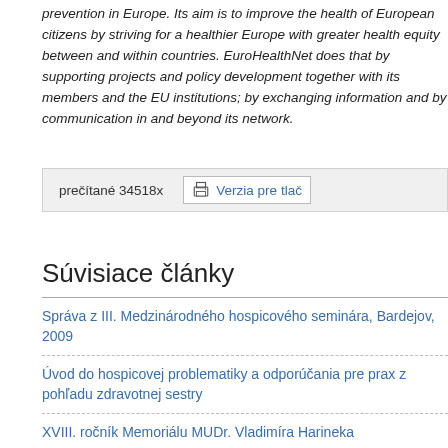prevention in Europe. Its aim is to improve the health of European citizens by striving for a healthier Europe with greater health equity between and within countries. EuroHealthNet does that by supporting projects and policy development together with its members and the EU institutions; by exchanging information and by communication in and beyond its network.
prečítané 34518x   Verzia pre tlač
Súvisiace články
Správa z III. Medzinárodného hospicového seminára, Bardejov, 2009
Úvod do hospicovej problematiky a odporúčania pre prax z pohľadu zdravotnej sestry
XVIII. ročník Memoriálu MUDr. Vladimíra Harineka
V hospici naplňujeme představy lidí o důstojném umírání - Hospic svaté Alžběty v Brně